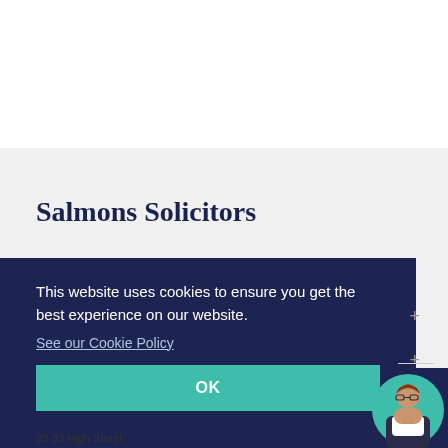Salmons Solicitors
This website uses cookies to ensure you get the best experience on our website.
See our Cookie Policy
OK
30-33 High Street